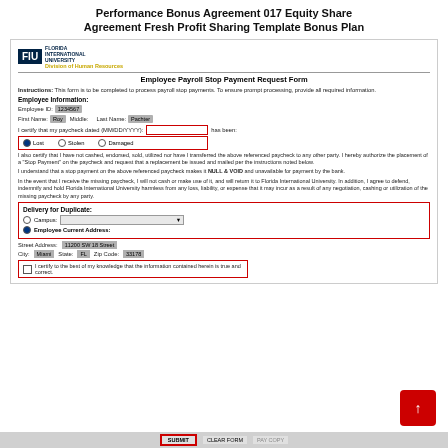Performance Bonus Agreement 017 Equity Share Agreement Fresh Profit Sharing Template Bonus Plan
[Figure (logo): FIU Florida International University Division of Human Resources logo]
Employee Payroll Stop Payment Request Form
Instructions: This form is to be completed to process payroll stop payments. To ensure prompt processing, provide all required information.
Employee Information:
Employee ID: 1234567
First Name: Roy   Middle:   Last Name: Pachter
I certify that my paycheck dated (MM/DD/YYYY): _________ has been:
Lost   Stolen   Damaged
I also certify that I have not cashed, endorsed, sold, utilized nor have I transferred the above referenced paycheck to any other party. I hereby authorize the placement of a "Stop Payment" on the paycheck and request that a replacement be issued and mailed per the instructions noted below.
I understand that a stop payment on the above referenced paycheck makes it NULL & VOID and unavailable for payment by the bank.
In the event that I receive the missing paycheck, I will not cash or make use of it, and will return it to Florida International University. In addition, I agree to defend, indemnify and hold Florida International University harmless from any loss, liability, or expense that it may incur as a result of any negotiation, cashing or utilization of the missing paycheck by any party.
Delivery for Duplicate:
Campus:   Employee Current Address:
Street Address: 11200 SW 18 Street
City: Miami   State: FL   Zip Code: 33178
I certify to the best of my knowledge that the information contained herein is true and correct.